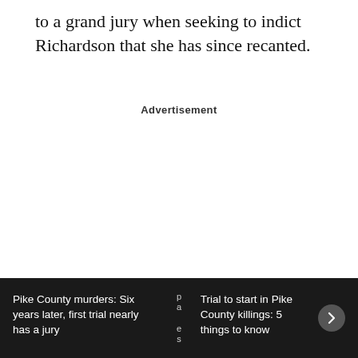to a grand jury when seeking to indict Richardson that she has since recanted.
Advertisement
“The indictment and prosecution in this case are
Pike County murders: Six years later, first trial nearly has a jury
Trial to start in Pike County killings: 5 things to know
charred,” the defense attorneys wrote in the